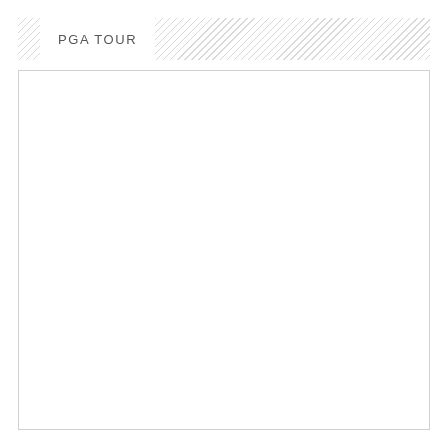PGA TOUR
[Figure (other): Empty bordered white box, content area placeholder]